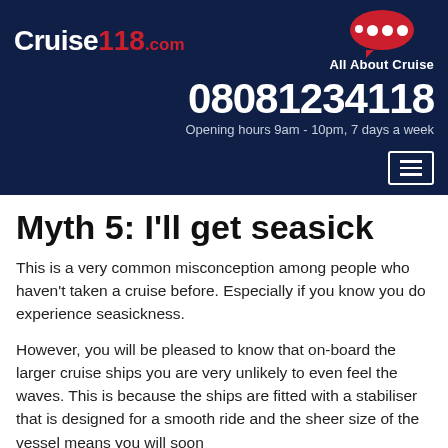Cruise118.com — All About Cruise — Phone: 08081234118 — Opening hours 9am - 10pm, 7 days a week
Myth 5: I'll get seasick
This is a very common misconception among people who haven't taken a cruise before. Especially if you know you do experience seasickness.
However, you will be pleased to know that on-board the larger cruise ships you are very unlikely to even feel the waves. This is because the ships are fitted with a stabiliser that is designed for a smooth ride and the sheer size of the vessel means you will soon